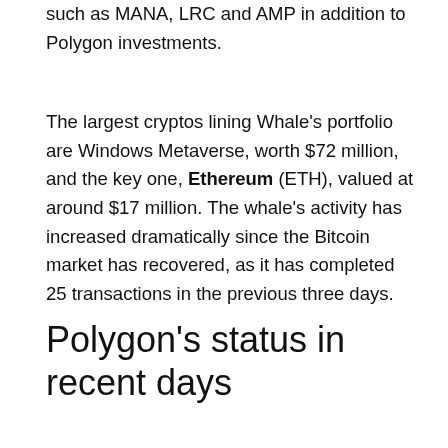such as MANA, LRC and AMP in addition to Polygon investments.
The largest cryptos lining Whale's portfolio are Windows Metaverse, worth $72 million, and the key one, Ethereum (ETH), valued at around $17 million. The whale's activity has increased dramatically since the Bitcoin market has recovered, as it has completed 25 transactions in the previous three days.
Polygon's status in recent days